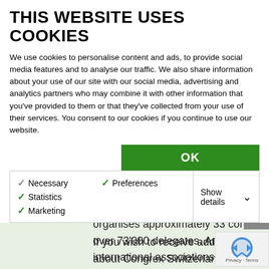THIS WEBSITE USES COOKIES
We use cookies to personalise content and ads, to provide social media features and to analyse our traffic. We also share information about your use of our site with our social media, advertising and analytics partners who may combine it with other information that you've provided to them or that they've collected from your use of their services. You consent to our cookies if you continue to use our website.
OK
Necessary  Preferences  Statistics  Marketing  Show details
conferences including the management of hotel rooms and the strategic consultancy of associations. Annually Congrex Switzerland organises approximately 33 conferences with over 73'000 delegates. Amongst our clients are international associations, governmental organisation and corporations.
If you wish to receive additional information about Congrex Switzerland, please feel free to contact us.